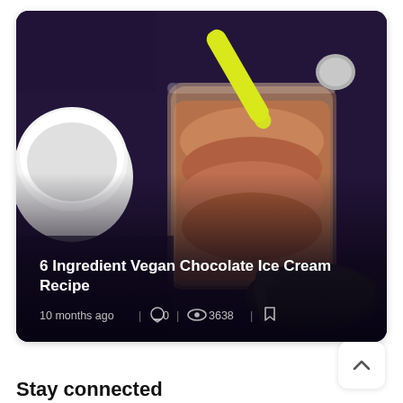[Figure (photo): Photo of chocolate ice cream in a clear container with a yellow-handled scoop, a white bowl on the left, dark spoon and plate at the bottom right, on a dark purple background. Overlaid title text: '6 Ingredient Vegan Chocolate Ice Cream Recipe', metadata: '10 months ago | 0 comments | 3638 views | bookmark icon'.]
[Figure (other): Scroll-to-top button: white rounded square with an upward chevron arrow icon.]
Stay connected